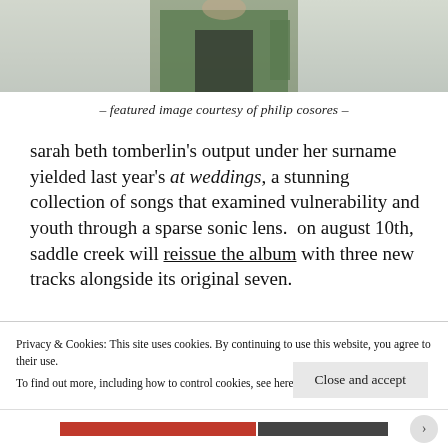[Figure (photo): Cropped photo of a person wearing a green jacket, partial upper body visible against a light background]
– featured image courtesy of philip cosores –
sarah beth tomberlin's output under her surname yielded last year's at weddings, a stunning collection of songs that examined vulnerability and youth through a sparse sonic lens.  on august 10th, saddle creek will reissue the album with three new tracks alongside its original seven.
Privacy & Cookies: This site uses cookies. By continuing to use this website, you agree to their use.
To find out more, including how to control cookies, see here: Cookie Policy
Close and accept